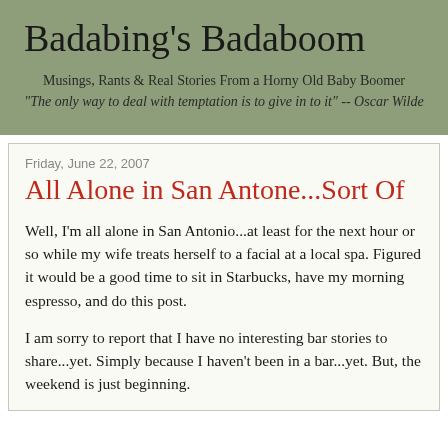Badabing's Badaboom
Musings, Rants & Real Stories From a Horny Old Baby Boomer
"The only way to deal with temptation is to give in to it" -- Oscar Wilde
Friday, June 22, 2007
All Alone in San Antone...Sort Of
Well, I'm all alone in San Antonio...at least for the next hour or so while my wife treats herself to a facial at a local spa. Figured it would be a good time to sit in Starbucks, have my morning espresso, and do this post.
I am sorry to report that I have no interesting bar stories to share...yet. Simply because I haven't been in a bar...yet. But, the weekend is just beginning.